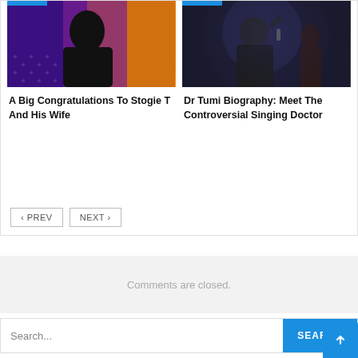[Figure (photo): Photo of Stogie T on purple and orange background]
[Figure (photo): Photo of Dr Tumi holding microphone at event]
A Big Congratulations To Stogie T And His Wife
Dr Tumi Biography: Meet The Controversial Singing Doctor
< PREV
NEXT >
Comments are closed.
Search...
SEARCH